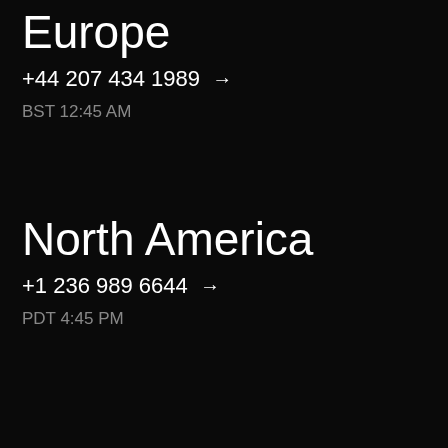Europe
+44 207 434 1989 →
BST 12:45 AM
North America
+1 236 989 6644 →
PDT 4:45 PM